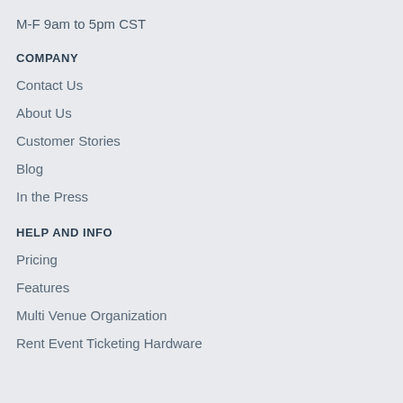M-F 9am to 5pm CST
COMPANY
Contact Us
About Us
Customer Stories
Blog
In the Press
HELP AND INFO
Pricing
Features
Multi Venue Organization
Rent Event Ticketing Hardware